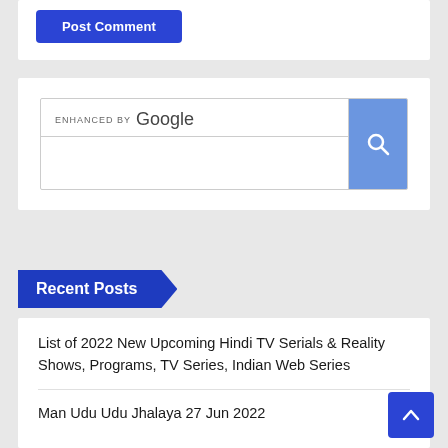[Figure (screenshot): Post Comment button (blue, rounded rectangle)]
[Figure (screenshot): Google enhanced search widget with search bar and blue search button]
Recent Posts
List of 2022 New Upcoming Hindi TV Serials & Reality Shows, Programs, TV Series, Indian Web Series
Man Udu Udu Jhalaya 27 Jun 2022